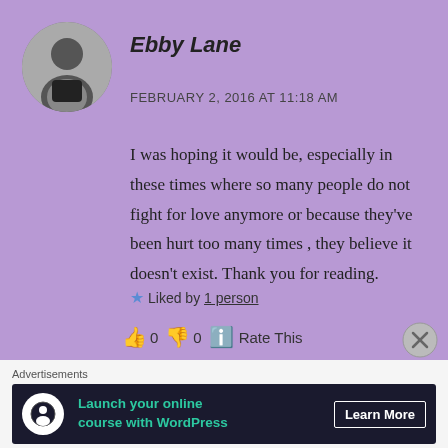Ebby Lane
FEBRUARY 2, 2016 AT 11:18 AM
I was hoping it would be, especially in these times where so many people do not fight for love anymore or because they've been hurt too many times , they believe it doesn't exist. Thank you for reading.
★ Liked by 1 person
👍 0 👎 0 ℹ Rate This
Advertisements
Launch your online course with WordPress   Learn More